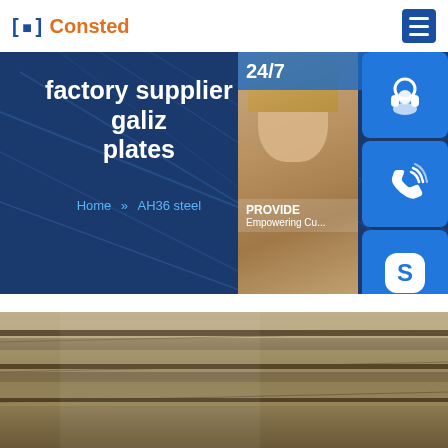Consted
factory supplier galiz... plates
Home >> AH36 steel
[Figure (photo): Customer service representative with headset, overlaid with blue icon buttons (headset icon, phone icon, Skype icon) and 24/7 label. Online live chat button at bottom.]
[Figure (photo): Close-up photo of steel plates stacked, showing textured dark metal surface.]